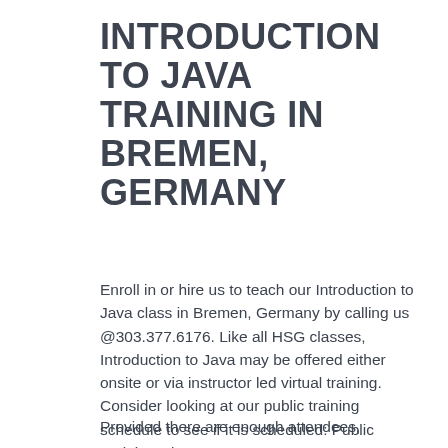INTRODUCTION TO JAVA TRAINING IN BREMEN, GERMANY
Enroll in or hire us to teach our Introduction to Java class in Bremen, Germany by calling us @303.377.6176. Like all HSG classes, Introduction to Java may be offered either onsite or via instructor led virtual training. Consider looking at our public training schedule to see if it is scheduled: Public Training Classes
Provided there are enough attendees,